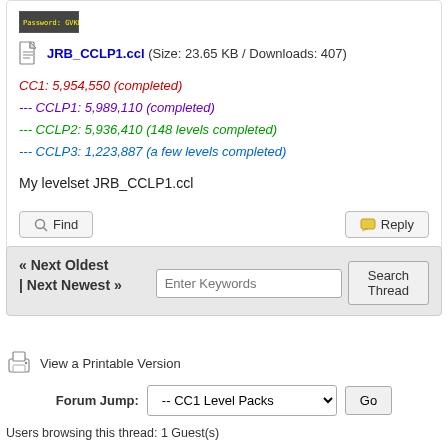[Figure (screenshot): Small Minecraft-style game screenshot thumbnail at top]
JRB_CCLP1.ccl (Size: 23.65 KB / Downloads: 407)
CC1: 5,954,550 (completed)
--- CCLP1: 5,989,110 (completed)
--- CCLP2: 5,936,410 (148 levels completed)
--- CCLP3: 1,223,887 (a few levels completed)
My levelset JRB_CCLP1.ccl
Find
Reply
« Next Oldest | Next Newest »
Enter Keywords
Search Thread
View a Printable Version
Forum Jump:  -- CC1 Level Packs  Go
Users browsing this thread: 1 Guest(s)